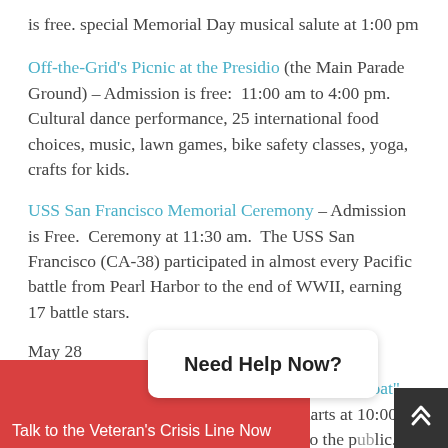is free. special Memorial Day musical salute at 1:00 pm
Off-the-Grid's Picnic at the Presidio (the Main Parade Ground) – Admission is free: 11:00 am to 4:00 pm. Cultural dance performance, 25 international food choices, music, lawn games, bike safety classes, yoga, crafts for kids.
USS San Francisco Memorial Ceremony – Admission is Free. Ceremony at 11:30 am. The USS San Francisco (CA-38) participated in almost every Pacific battle from Pearl Harbor to the end of WWII, earning 17 battle stars.
May 28
Fisherman's Wharf, Pier 45 – Submarine "Lost Boat" Ceremony aboard the USS Pampanito starts at 10:00 am. Admission: the ceremony is open to the public. It never hurts to ask if they offer a discount for a tour of the submarine.
USS Hornet (707 W. Hornet Ave., Pier 3, Alameda 94501) –
[Figure (screenshot): Red overlay banner with 'Need Help Now?' button and 'Talk to the Veteran's Crisis Line Now' text, plus dark scroll-to-top button in bottom right corner.]